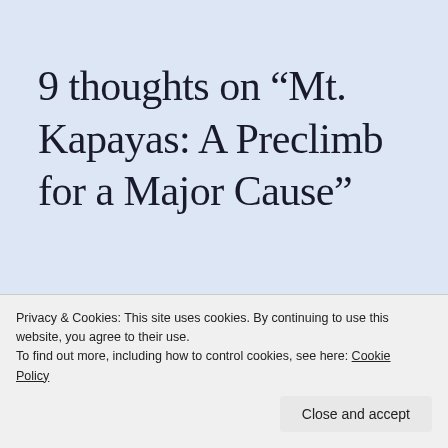9 thoughts on “Mt. Kapayas: A Preclimb for a Major Cause”
Privacy & Cookies: This site uses cookies. By continuing to use this website, you agree to their use.
To find out more, including how to control cookies, see here: Cookie Policy
Close and accept